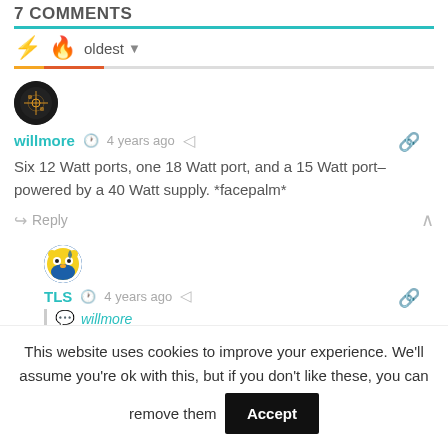7 COMMENTS
oldest
willmore · 4 years ago
Six 12 Watt ports, one 18 Watt port, and a 15 Watt port–powered by a 40 Watt supply. *facepalm*
Reply
TLS · 4 years ago
willmore
This website uses cookies to improve your experience. We'll assume you're ok with this, but if you don't like these, you can remove them  Accept